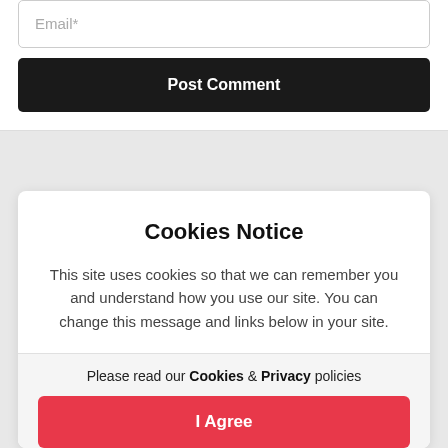Email*
Post Comment
Cookies Notice
This site uses cookies so that we can remember you and understand how you use our site. You can change this message and links below in your site.
Please read our Cookies & Privacy policies
I Agree